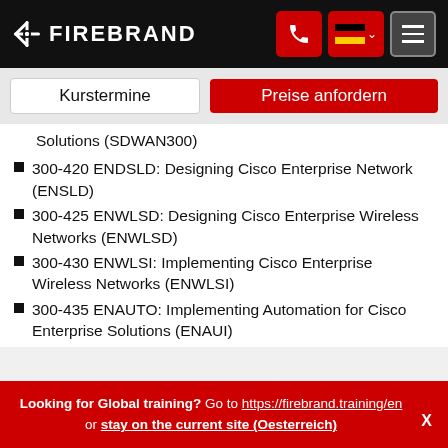FIREBRAND
Solutions (SDWAN300)
300-420 ENDSLD: Designing Cisco Enterprise Network (ENSLD)
300-425 ENWLSD: Designing Cisco Enterprise Wireless Networks (ENWLSD)
300-430 ENWLSI: Implementing Cisco Enterprise Wireless Networks (ENWLSI)
300-435 ENAUTO: Implementing Automation for Cisco Enterprise Solutions (ENAUI)
Looking for Global training? Go to https://firebrand.training/en or stay on the current site (Oesterreich)